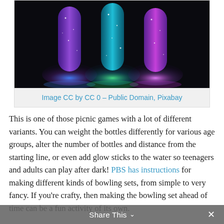[Figure (photo): Three glowing bottles with LED lights inside — blue/purple on left, cyan/teal in center, purple on right — against a dark black background, glowing brightly at base]
Image CC by CC 0 – Public Domain, Pixabay
This is one of those picnic games with a lot of different variants. You can weight the bottles differently for various age groups, alter the number of bottles and distance from the starting line, or even add glow sticks to the water so teenagers and adults can play after dark! PBS has instructions for making different kinds of bowling sets, from simple to very fancy. If you're crafty, then making the bowling set ahead of time can be a fun activity of its own.
Share This  ✕